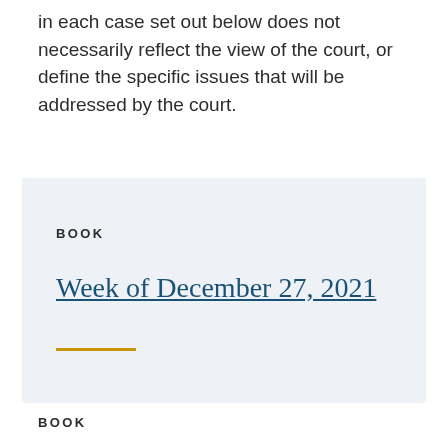in each case set out below does not necessarily reflect the view of the court, or define the specific issues that will be addressed by the court.
BOOK
Week of December 27, 2021
BOOK